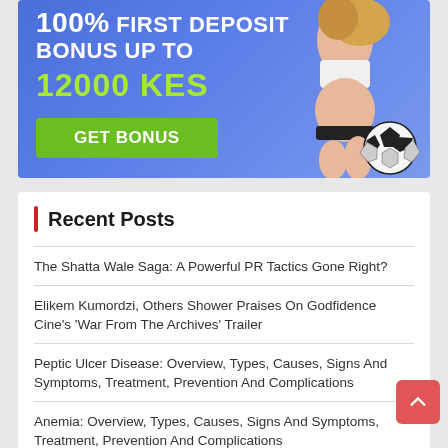[Figure (illustration): Gambling advertisement banner with blue gradient background showing '100% FIRST DEPOSIT BONUS UP TO 12000 KES' with a green GET BONUS button and a figure of a woman with a soccer ball]
Recent Posts
The Shatta Wale Saga: A Powerful PR Tactics Gone Right?
Elikem Kumordzi, Others Shower Praises On Godfidence Cine's 'War From The Archives' Trailer
Peptic Ulcer Disease: Overview, Types, Causes, Signs And Symptoms, Treatment, Prevention And Complications
Anemia: Overview, Types, Causes, Signs And Symptoms, Treatment, Prevention And Complications